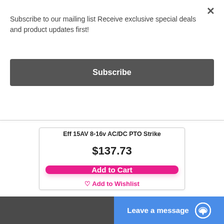Subscribe to our mailing list Receive exclusive special deals and product updates first!
Subscribe
Eff 15AV 8-16v AC/DC PTO Strike
$137.73
Add to Cart
♡ Add to Wishlist
Leave a message